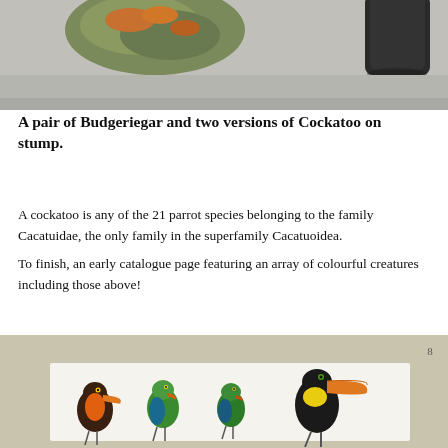[Figure (photo): Top portion of a photo showing decorative bird figurines on a grey surface — partial view including what appears to be a mottled green/orange object and a dark black object]
A pair of Budgeriegar and two versions of Cockatoo on stump.
A cockatoo is any of the 21 parrot species belonging to the family Cacatuidae, the only family in the superfamily Cacatuoidea.
To finish, an early catalogue page featuring an array of colourful creatures including those above!
[Figure (photo): Bottom portion showing an early catalogue page with illustrations of colourful birds including toucans and parrots arranged in a row on a white background, with the number 8 visible in the top right corner]